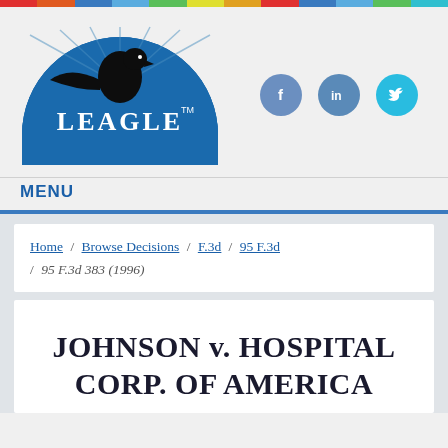[Figure (logo): Leagle.com logo — blue semicircle with eagle silhouette and LEAGLE text in white]
[Figure (infographic): Social media icons: Facebook, LinkedIn, Twitter circular buttons]
MENU
Home / Browse Decisions / F.3d / 95 F.3d / 95 F.3d 383 (1996)
JOHNSON v. HOSPITAL CORP. OF AMERICA